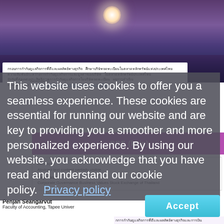[Figure (photo): Blurred purple/blue sunset landscape with white sun reflection over water]
Thai language text paragraph with link
This website uses cookies to offer you a seamless experience. These cookies are essential for running our website and are key to providing you a smoother and more personalized experience. By using our website, you acknowledge that you have read and understand our cookie policy. Privacy policy
[Figure (screenshot): Purple PDF download button bar]
Abstract
Abstract text visible partially
Keywords: Corporate Governance Business Values Stock Exchange of Thailand
Penjan Seangarvut
Faculty of Accounting, Tapee Univer…
Thai text bottom right